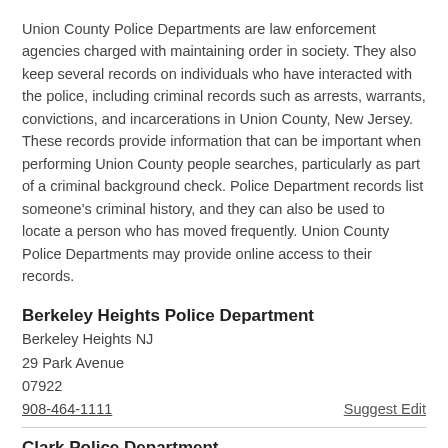Union County Police Departments are law enforcement agencies charged with maintaining order in society. They also keep several records on individuals who have interacted with the police, including criminal records such as arrests, warrants, convictions, and incarcerations in Union County, New Jersey. These records provide information that can be important when performing Union County people searches, particularly as part of a criminal background check. Police Department records list someone's criminal history, and they can also be used to locate a person who has moved frequently. Union County Police Departments may provide online access to their records.
Berkeley Heights Police Department
Berkeley Heights NJ
29 Park Avenue
07922
908-464-1111
Clark Police Department
Clark NJ
315 Westfield Avenue